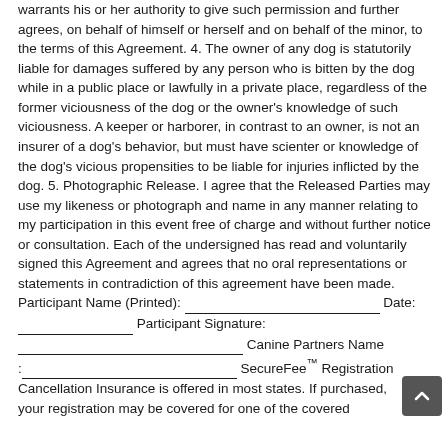warrants his or her authority to give such permission and further agrees, on behalf of himself or herself and on behalf of the minor, to the terms of this Agreement. 4. The owner of any dog is statutorily liable for damages suffered by any person who is bitten by the dog while in a public place or lawfully in a private place, regardless of the former viciousness of the dog or the owner's knowledge of such viciousness. A keeper or harborer, in contrast to an owner, is not an insurer of a dog's behavior, but must have scienter or knowledge of the dog's vicious propensities to be liable for injuries inflicted by the dog. 5. Photographic Release. I agree that the Released Parties may use my likeness or photograph and name in any manner relating to my participation in this event free of charge and without further notice or consultation. Each of the undersigned has read and voluntarily signed this Agreement and agrees that no oral representations or statements in contradiction of this agreement have been made. Participant Name (Printed): ___________________________ Date: _______________ Participant Signature: _________________________________ Canine Partners Name :_________________________________ SecureFee™ Registration Cancellation Insurance is offered in most states. If purchased, your registration may be covered for one of the covered